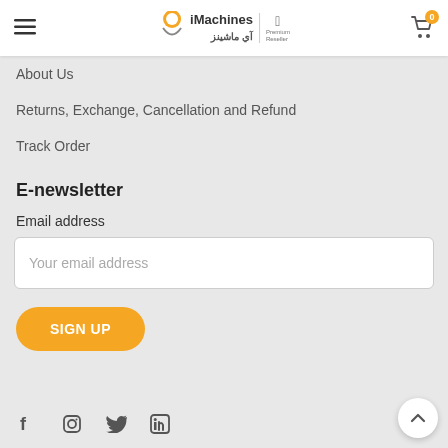iMachines | آي ماشينز — navigation header with hamburger menu and cart
About Us
Returns, Exchange, Cancellation and Refund
Track Order
E-newsletter
Email address
Your email address
SIGN UP
[Figure (infographic): Social media icons row: Facebook (f), Instagram, Twitter, LinkedIn]